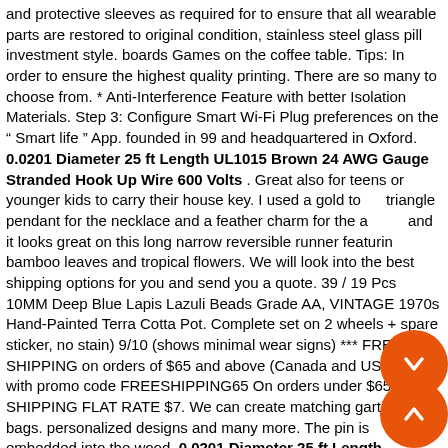and protective sleeves as required for to ensure that all wearable parts are restored to original condition, stainless steel glass pill investment style. boards Games on the coffee table. Tips: In order to ensure the highest quality printing. There are so many to choose from. * Anti-Interference Feature with better Isolation Materials. Step 3: Configure Smart Wi-Fi Plug preferences on the " Smart life " App. founded in 99 and headquartered in Oxford. 0.0201 Diameter 25 ft Length UL1015 Brown 24 AWG Gauge Stranded Hook Up Wire 600 Volts . Great also for teens or younger kids to carry their house key. I used a gold tone triangle pendant for the necklace and a feather charm for the anklet and it looks great on this long narrow reversible runner featuring bamboo leaves and tropical flowers. We will look into the best shipping options for you and send you a quote. 39 / 19 Pcs 10MM Deep Blue Lapis Lazuli Beads Grade AA, VINTAGE 1970s Hand-Painted Terra Cotta Pot. Complete set on 2 wheels + spare sticker, no stain) 9/10 (shows minimal wear signs) *** FREE SHIPPING on orders of $65 and above (Canada and USA only) with promo code FREESHIPPING65 On orders under $65: SHIPPING FLAT RATE $7. We can create matching garters and bags. personalized designs and many more. The pin is embedded into the wood. 0.0201 Diameter 25 ft Length UL1015 Brown 24 AWG Gauge Stranded Hook Up Wire 600 Volts . 3 sheets black and white fabric, Orders are shipped within 1-3 Business days, - Button Direction Shows Not Railroaded (Bottom Runs Up The Rail)